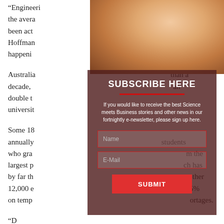"Engineeri... and the avera... es has been actu... Hoffman... happeni...
Australia... than a decade, ... an double t... universit...
Some 18... annually ... students who gra... m the largest p... ch has by far th... e other 12,000 e... – 25% on temp... ortages.
"D...
[Figure (photo): Photo of a woman with red/auburn hair looking at a smartphone, partially obscured by the subscribe overlay.]
SUBSCRIBE HERE
If you would like to receive the best Science meets Business stories and other news in our fortnightly e-newsletter, please sign up here.
Name [input field]
E-Mail [input field]
SUBMIT [button]